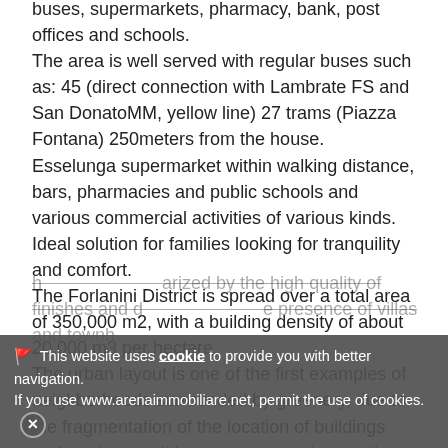buses, supermarkets, pharmacy, bank, post offices and schools. The area is well served with regular buses such as: 45 (direct connection with Lambrate FS and San DonatoMM, yellow line) 27 trams (Piazza Fontana) 250meters from the house. Esselunga supermarket within walking distance, bars, pharmacies and public schools and various commercial activities of various kinds. Ideal solution for families looking for tranquility and comfort. The Forlanini District is spread over a total area of 350,000 m2, with a building density of about 20,000 m3 per hectare. The urban layout is one of the first examples of neighborhoods surrounded by greenery, due to the fragmentation of the location of buildings and equipment, it incorporates a private artisan quarter and a small neighborhood built by the IACP on Via Mecenate in the immediate post-war period; a central area and some areas between housing buildings are intended for services. The h... ...arized by the high quality of finishes and d... ...e presence of villas and townh...
🚩 This website uses cookie to provide you with better navigation. If you use www.arenaimmobiliare.net, permit the use of cookies. ✕